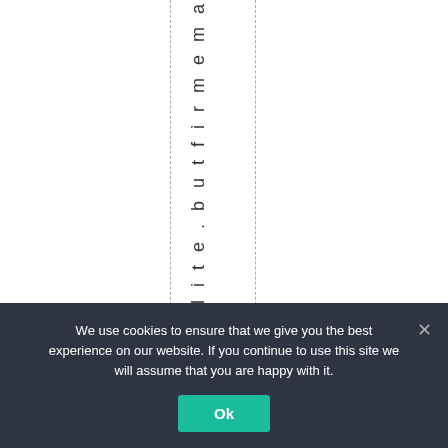t p o l i t e . b u t f i r m e m a
We use cookies to ensure that we give you the best experience on our website. If you continue to use this site we will assume that you are happy with it.